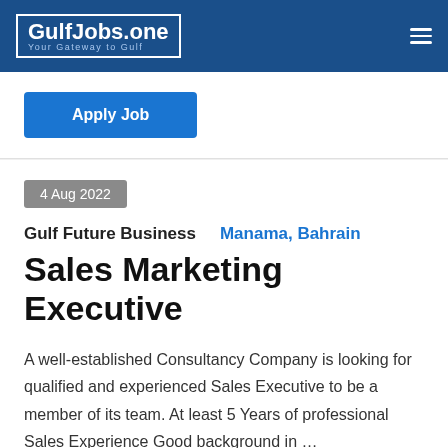GulfJobs.one — Your Gateway to Gulf
Apply Job
4 Aug 2022
Gulf Future Business   Manama, Bahrain
Sales Marketing Executive
A well-established Consultancy Company is looking for qualified and experienced Sales Executive to be a member of its team. At least 5 Years of professional Sales Experience Good background in …
Apply Job